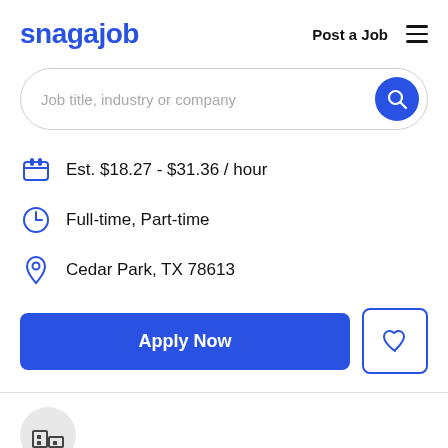snagajob  Post a Job  ≡
Job title, industry or company
Est. $18.27 - $31.36 / hour
Full-time, Part-time
Cedar Park, TX 78613
Apply Now